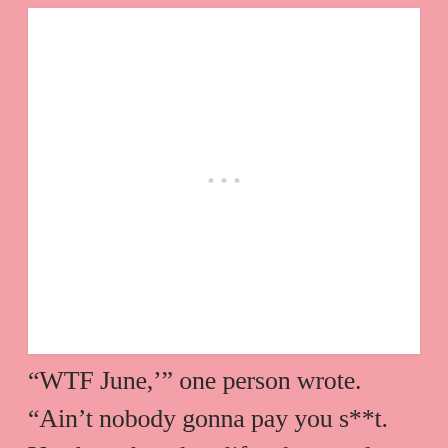[Figure (other): White card/image placeholder with three small grey dots in the center, set against a pink background]
“WTF June,’” one person wrote. “Ain’t nobody gonna pay you s**t. You have let a low life take you down and away from